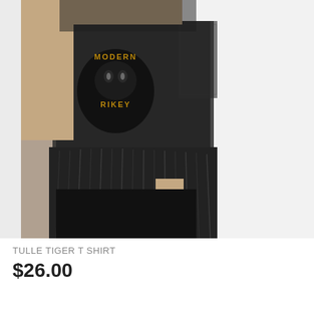[Figure (photo): Fashion product photo showing a model wearing a black tulle t-shirt with a tiger/cat graphic print reading 'MODERN RIKEY', featuring a sheer mesh overlay with pleated tulle skirt detail, paired with black shorts. The model is photographed from neck to mid-thigh against a white background.]
TULLE TIGER T SHIRT
$26.00